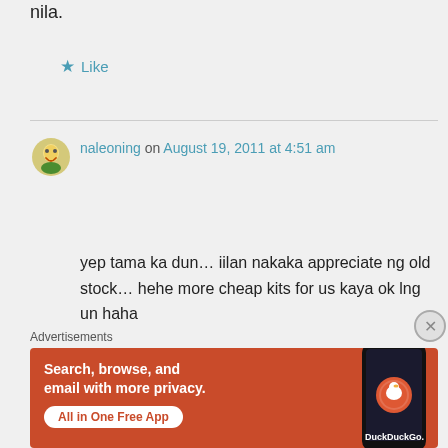nila.
★ Like
naleoning on August 19, 2011 at 4:51 am
yep tama ka dun… iilan nakaka appreciate ng old stock… hehe more cheap kits for us kaya ok lng un haha
Advertisements
[Figure (screenshot): DuckDuckGo advertisement banner with orange background showing 'Search, browse, and email with more privacy. All in One Free App' with a phone mockup and DuckDuckGo logo.]